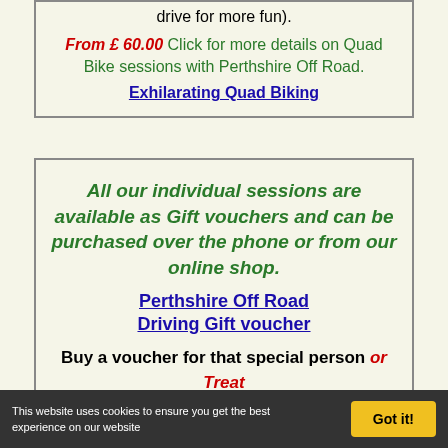drive for more fun).
From £ 60.00 Click for more details on Quad Bike sessions with Perthshire Off Road. Exhilarating Quad Biking
All our individual sessions are available as Gift vouchers and can be purchased over the phone or from our online shop.
Perthshire Off Road Driving Gift voucher
Buy a voucher for that special person or Treat yourself!
Our Off Road DRIVING
This website uses cookies to ensure you get the best experience on our website